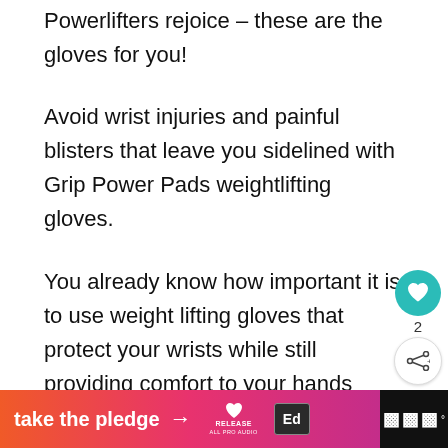Powerlifters rejoice – these are the gloves for you!
Avoid wrist injuries and painful blisters that leave you sidelined with Grip Power Pads weightlifting gloves.
You already know how important it is to use weight lifting gloves that protect your wrists while still providing comfort to your hands during heavy lift sessions.
[Figure (infographic): Bottom advertisement banner: orange-to-pink gradient with 'take the pledge' text and arrow, RELEASE logo, Ed logo, and dark right section with mic icon and degree symbol]
[Figure (infographic): Floating UI overlay: teal heart button with count 2 and share button]